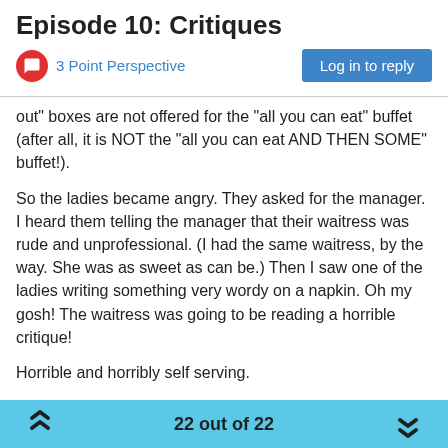Episode 10: Critiques
3 Point Perspective
out" boxes are not offered for the "all you can eat" buffet (after all, it is NOT the "all you can eat AND THEN SOME" buffet!).
So the ladies became angry. They asked for the manager. I heard them telling the manager that their waitress was rude and unprofessional. (I had the same waitress, by the way. She was as sweet as can be.) Then I saw one of the ladies writing something very wordy on a napkin. Oh my gosh! The waitress was going to be reading a horrible critique!
Horrible and horribly self serving.
I felt bad for the waitress. Would this cause her to quit? Would this ruin her day?
So, focusing back on art, I knew a very talented portrait artist. He worked in pastels. He had an easel set up at a local art supply store and I used to watch him work. I learned a lot by just watching
22 out of 22